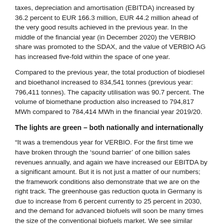taxes, depreciation and amortisation (EBITDA) increased by 36.2 percent to EUR 166.3 million, EUR 44.2 million ahead of the very good results achieved in the previous year. In the middle of the financial year (in December 2020) the VERBIO share was promoted to the SDAX, and the value of VERBIO AG has increased five-fold within the space of one year.
Compared to the previous year, the total production of biodiesel and bioethanol increased to 834,541 tonnes (previous year: 796,411 tonnes). The capacity utilisation was 90.7 percent. The volume of biomethane production also increased to 794,817 MWh compared to 784,414 MWh in the financial year 2019/20.
The lights are green – both nationally and internationally
“It was a tremendous year for VERBIO. For the first time we have broken through the ‘sound barrier’ of one billion sales revenues annually, and again we have increased our EBITDA by a significant amount. But it is not just a matter of our numbers; the framework conditions also demonstrate that we are on the right track. The greenhouse gas reduction quota in Germany is due to increase from 6 percent currently to 25 percent in 2030, and the demand for advanced biofuels will soon be many times the size of the conventional biofuels market. We see similar